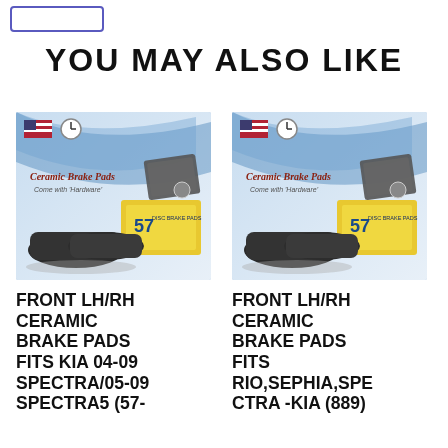YOU MAY ALSO LIKE
[Figure (photo): Ceramic Brake Pads product box and pads image for KIA Spectra]
[Figure (photo): Ceramic Brake Pads product box and pads image for KIA Rio/Sephia/Spectra]
FRONT LH/RH CERAMIC BRAKE PADS FITS KIA 04-09 SPECTRA/05-09 SPECTRA5 (57-
FRONT LH/RH CERAMIC BRAKE PADS FITS RIO,SEPHIA,SPE CTRA -KIA (889)